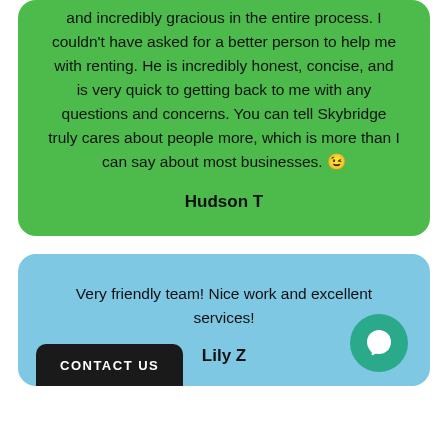and incredibly gracious in the entire process. I couldn't have asked for a better person to help me with renting. He is incredibly honest, concise, and is very quick to getting back to me with any questions and concerns. You can tell Skybridge truly cares about people more, which is more than I can say about most businesses. 😉
Hudson T
Very friendly team! Nice work and excellent services!
Lily Z
CONTACT US